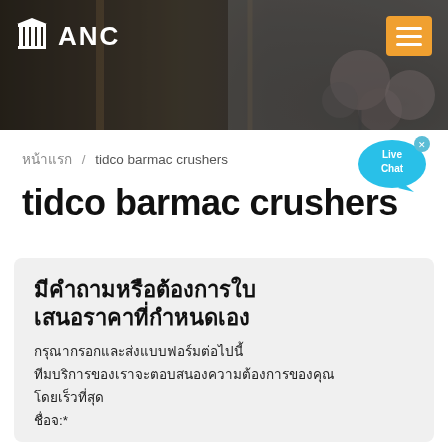[Figure (photo): Website header with ANC logo on dark industrial/factory background with microphones visible on the right side. Orange hamburger menu button in top right corner.]
ANC
หน้าแรก / tidco barmac crushers
tidco barmac crushers
มีคำถามหรือต้องการใบเสนอราคาที่กำหนดเอง
กรุณากรอกและส่งแบบฟอร์มต่อไปนี้
ทีมบริการของเราจะตอบสนองความต้องการของคุณ
โดยเร็วที่สุด
ชื่อจ:*